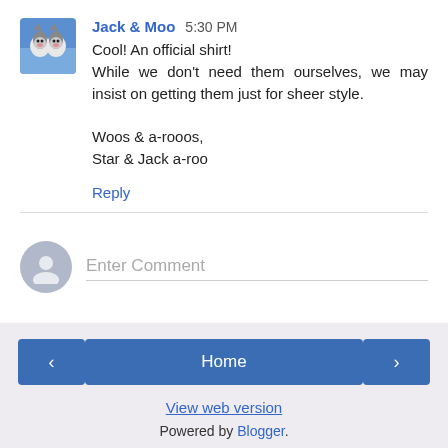Jack & Moo 5:30 PM
Cool! An official shirt!
While we don't need them ourselves, we may insist on getting them just for sheer style.

Woos & a-rooos,
Star & Jack a-roo
Reply
Enter Comment
Home | View web version | Powered by Blogger.